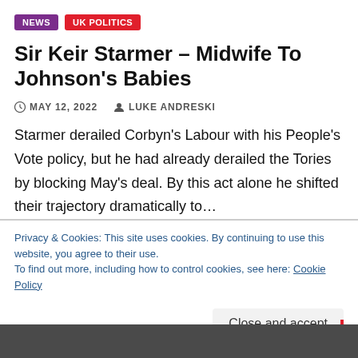NEWS | UK POLITICS
Sir Keir Starmer – Midwife To Johnson's Babies
MAY 12, 2022   LUKE ANDRESKI
Starmer derailed Corbyn's Labour with his People's Vote policy, but he had already derailed the Tories by blocking May's deal. By this act alone he shifted their trajectory dramatically to…
Privacy & Cookies: This site uses cookies. By continuing to use this website, you agree to their use.
To find out more, including how to control cookies, see here: Cookie Policy
Close and accept